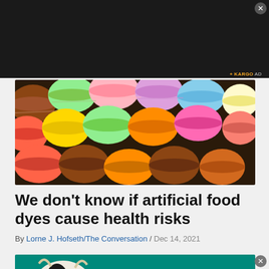[Figure (photo): Dark/black advertisement banner at the top of the page with a close (X) button in the top right corner and a KARGO AD label]
[Figure (photo): Colorful assorted French macarons in various colors including pink, purple, blue, green, yellow, orange, brown, and red arranged in a flat lay]
We don't know if artificial food dyes cause health risks
By Lorne J. Hofseth/The Conversation / Dec 14, 2021
[Figure (photo): Black and white dairy cows on a teal/green background, partially visible at the bottom of the page]